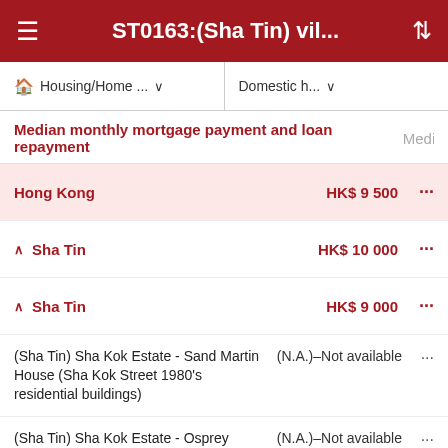ST0163:(Sha Tin) vil...
Housing/Home ...   Domestic h...
Median monthly mortgage payment and loan repayment   Media...
| Location | Value |  |
| --- | --- | --- |
| Hong Kong | HK$ 9 500 | ... |
| Sha Tin | HK$ 10 000 | ... |
| Sha Tin | HK$ 9 000 | ... |
| (Sha Tin) Sha Kok Estate - Sand Martin House (Sha Kok Street 1980's residential buildings) | (N.A.)–Not available | ... |
| (Sha Tin) Sha Kok Estate - Osprey House (Sha Kok Street 1980's residential buildings) | (N.A.)–Not available | ... |
| (Sha Tin) Sha Kok Estate - Herring Gull House (Sha Kok Street 1980's residential buildings) | (N.A.)–Not available | ... |
| (Sha Tin) Sha Kok Estate - Green | (N.A.)–Not | ... |